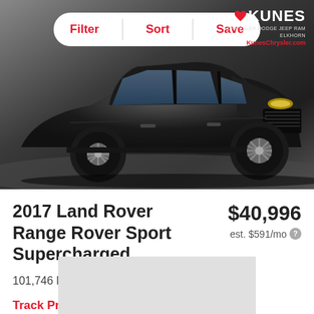[Figure (photo): Black Land Rover Range Rover Sport SUV photographed in a dealership, angled front-right view. Kunes Chrysler Dodge Jeep Ram Elkhorn logo visible in top-right corner.]
2017 Land Rover Range Rover Sport Supercharged
$40,996
est. $591/mo
101,746 Miles | Elkhorn, WI
Track Price   Check Availability